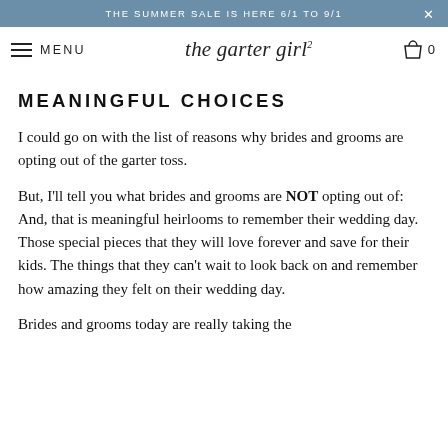THE SUMMER SALE IS HERE 6/1 TO 9/1 ×
MENU | the garter girl | 0
MEANINGFUL CHOICES
I could go on with the list of reasons why brides and grooms are opting out of the garter toss.
But, I'll tell you what brides and grooms are NOT opting out of:  And, that is meaningful heirlooms to remember their wedding day. Those special pieces that they will love forever and save for their kids. The things that they can't wait to look back on and remember how amazing they felt on their wedding day.
Brides and grooms today are really taking the